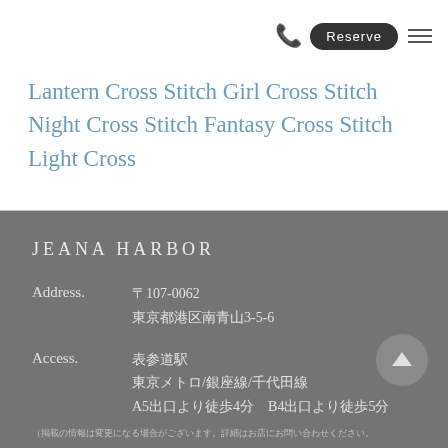Reserve
Lantern Cross Stitch Girl Cross Stitch Night Cross Stitch Fantasy Cross Stitch Light Cross
JEANA HARBOR
Address. 〒107-0062 東京都港区南青山3-5-6
Access. 表参道駅 東京メトロ/銀座線/半蔵門線/千代田線 A5出口より徒歩4分 B4出口より徒歩5分
（掲載の情報は変更になる場合がございます。詳細はお店にお問い合わせください。）